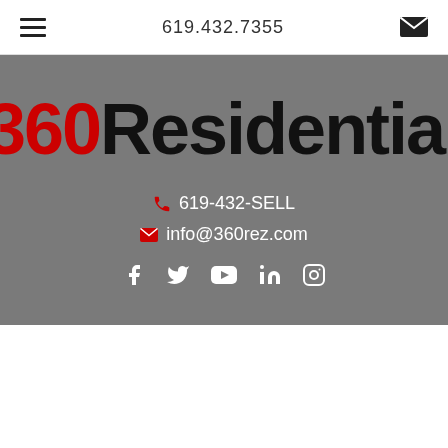619.432.7355
[Figure (logo): 360Residential company logo with '360' in red and 'Residential' in black on gray background]
619-432-SELL
info@360rez.com
[Figure (illustration): Social media icons: Facebook, Twitter, YouTube, LinkedIn, Instagram]